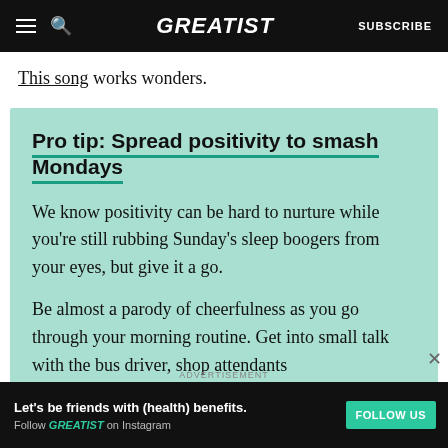GREATIST — SUBSCRIBE
This song works wonders.
Pro tip: Spread positivity to smash Mondays
We know positivity can be hard to nurture while you're still rubbing Sunday's sleep boogers from your eyes, but give it a go.
Be almost a parody of cheerfulness as you go through your morning routine. Get into small talk with the bus driver, shop attendants
ADVERTISEMENT
Let's be friends with (health) benefits. Follow GREATIST on Instagram FOLLOW US